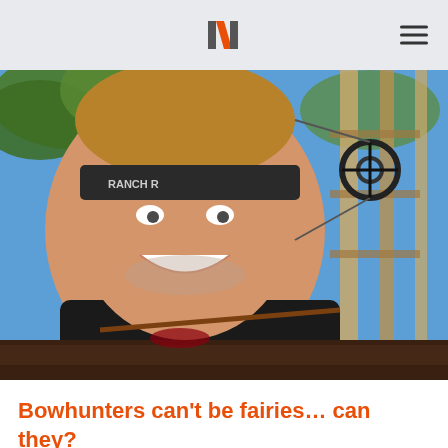N (Newsweek-style logo)
[Figure (photo): A man wearing a dark visor cap labeled 'RANCH' smiling at the camera in a selfie, holding an arrow next to what appears to be a killed animal. A compound bow branded 'KURE' is visible in the background against a blue sky with trees.]
Bowhunters can't be fairies… can they?